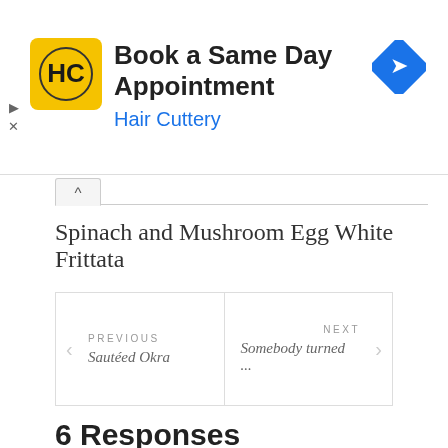[Figure (infographic): Hair Cuttery advertisement banner with HC logo in yellow square, text 'Book a Same Day Appointment' and 'Hair Cuttery' in blue, and a navigation arrow icon on the right]
Spinach and Mushroom Egg White Frittata
PREVIOUS Sautéed Okra | NEXT Somebody turned ...
6 Responses
Rome Diwa says:
08.29.2011 at 10:29 pm